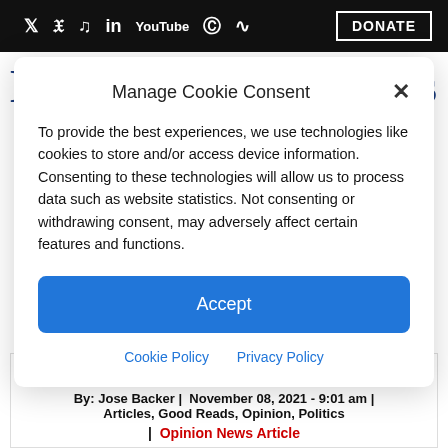Twitter Facebook TikTok LinkedIn YouTube Pinterest RSS | DONATE
Liberty Nation News
Manage Cookie Consent
To provide the best experiences, we use technologies like cookies to store and/or access device information. Consenting to these technologies will allow us to process data such as website statistics. Not consenting or withdrawing consent, may adversely affect certain features and functions.
Accept
Cookie Policy  Privacy Policy
nation.
By: Jose Backer |  November 08, 2021 - 9:01 am | Articles, Good Reads, Opinion, Politics
| Opinion News Article